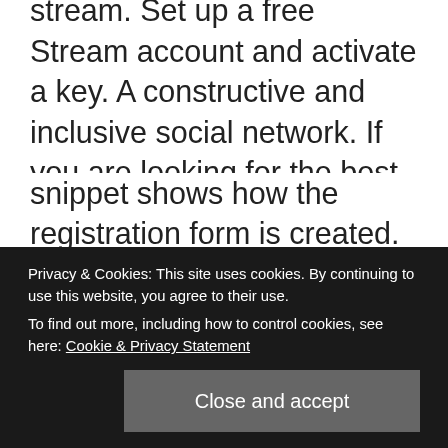stream. Set up a free Stream account and activate a key. A constructive and inclusive social network. If you are looking for the best social media marketing tool to use on your brand, then these two can be your next great choice. Next, you can choose to hide Tweets from a Twitter account. Templates let you quickly answer FAQs or store snippets for re-use. Airstream used Facebook Lead Ads along with HubSpot's Marketing Hub to generate leads at scale. These two are often compared with each other for their similarities and efficacy. Loaded with social media management features and tools, these two are pitted against each other. Marketing strategies have evolved. Give your app a name, select "Development" and click "Submit". In this blog post, we'll look at how to get started with social streams inside of
Privacy & Cookies: This site uses cookies. By continuing to use this website, you agree to their use.
To find out more, including how to control cookies, see here: Cookie & Privacy Statement
Close and accept
snippet shows how the registration form is created.